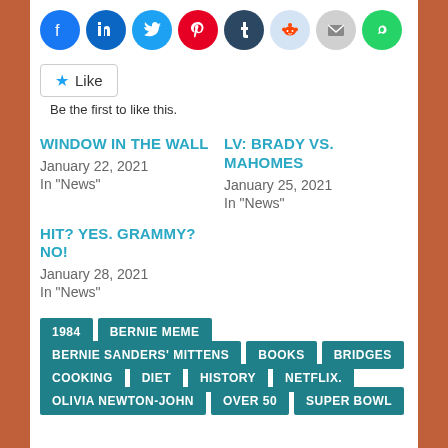[Figure (infographic): Row of social sharing icon circles: Facebook (blue), LinkedIn (blue), Twitter (light blue), Pinterest (red), Tumblr (dark blue), Reddit (light blue), Email (gray), WhatsApp (green)]
Like
Be the first to like this.
WINDOW IN THE WALL
January 22, 2021
In "News"
LV: BRADY VS. MAHOMES
January 25, 2021
In "News"
HIT? YES. GRAMMY? NO!
January 28, 2021
In "News"
1984
BERNIE MEME
BERNIE SANDERS' MITTENS
BOOKS
BRIDGES
COOKING
DIET
HISTORY
NETFLIX.
OLIVIA NEWTON-JOHN
OVER 50
SUPER BOWL